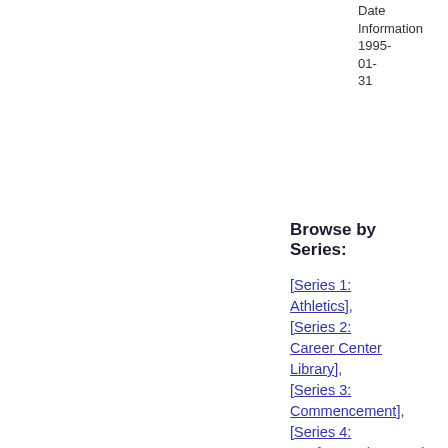Date Information 1995-01-31
Browse by Series:
[Series 1: Athletics],
[Series 2: Career Center Library],
[Series 3: Commencement],
[Series 4: Conference/Symposium],
[Series 5: Convocation],
[Series 6: Convocation, Honors],
[Series 7: Convocation, Spring],